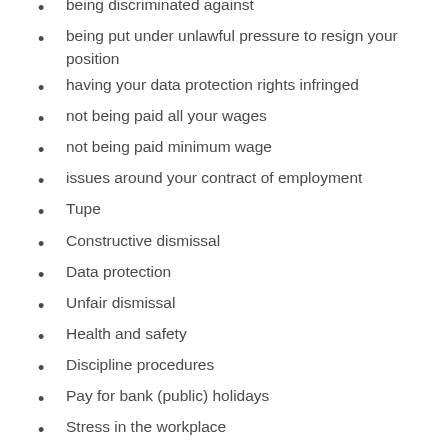being discriminated against
being put under unlawful pressure to resign your position
having your data protection rights infringed
not being paid all your wages
not being paid minimum wage
issues around your contract of employment
Tupe
Constructive dismissal
Data protection
Unfair dismissal
Health and safety
Discipline procedures
Pay for bank (public) holidays
Stress in the workplace